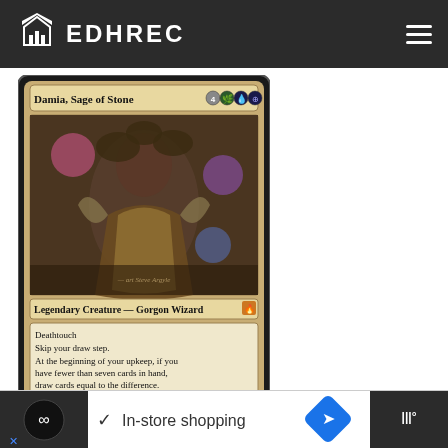EDHREC
[Figure (illustration): Magic: The Gathering card — Damia, Sage of Stone. Legendary Creature — Gorgon Wizard. Mana cost: 4 black green blue. Deathtouch. Skip your draw step. At the beginning of your upkeep, if you have fewer than seven cards in hand, draw cards equal to the difference. Flavor text: Ask your query and be on your way. Just don't look her in the eye. Power/Toughness: 4/4. Art by Steve Argyle.]
Damia, Sage of Stone, who loves discarding lots of cards, plays both of these scientists the most at twelve
and... The... let you
[Figure (infographic): Advertisement bar showing Google Maps-style icons with text 'In-store shopping']